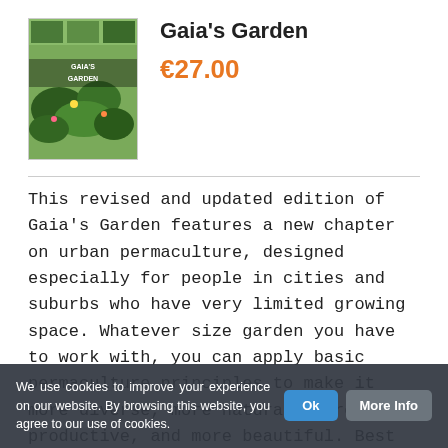[Figure (photo): Book cover of Gaia's Garden showing garden imagery with green plants and text GAIA'S GARDEN on cover]
Gaia's Garden
€27.00
This revised and updated edition of Gaia's Garden features a new chapter on urban permaculture, designed especially for people in cities and suburbs who have very limited growing space. Whatever size garden you have to work with, you can apply basic permaculture principles to make it more diverse, more natural, more productive, and more beautiful. Best of all, once it's
We use cookies to improve your experience on our website. By browsing this website, you agree to our use of cookies.